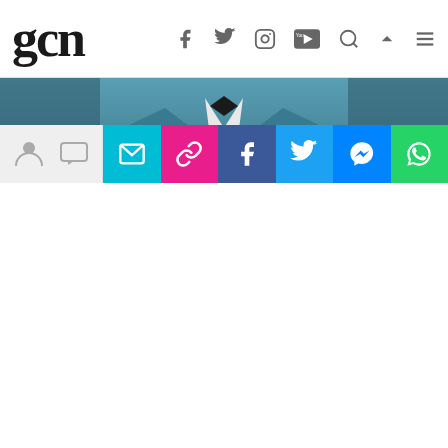gcn
[Figure (photo): A person in a blue tuxedo jacket with black bow tie, cropped from chest up, dark background]
Right at the start of Pride month, actor Chris Evans joined the cacophony of voices taking issue with the concept of straight pride with a tweet to his 12 million plus followers.
A proposed straight pride event is to take place in Boston on August 31st, organized by the group Super Happy Fun America. For days, Twitter has
Social sharing icons: email, link, Facebook, Twitter, Messenger, WhatsApp